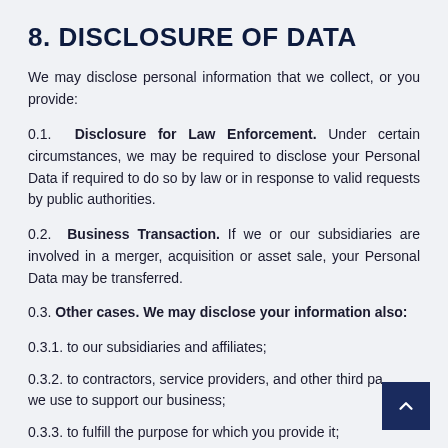8. DISCLOSURE OF DATA
We may disclose personal information that we collect, or you provide:
0.1. Disclosure for Law Enforcement. Under certain circumstances, we may be required to disclose your Personal Data if required to do so by law or in response to valid requests by public authorities.
0.2. Business Transaction. If we or our subsidiaries are involved in a merger, acquisition or asset sale, your Personal Data may be transferred.
0.3. Other cases. We may disclose your information also:
0.3.1. to our subsidiaries and affiliates;
0.3.2. to contractors, service providers, and other third parties we use to support our business;
0.3.3. to fulfill the purpose for which you provide it;